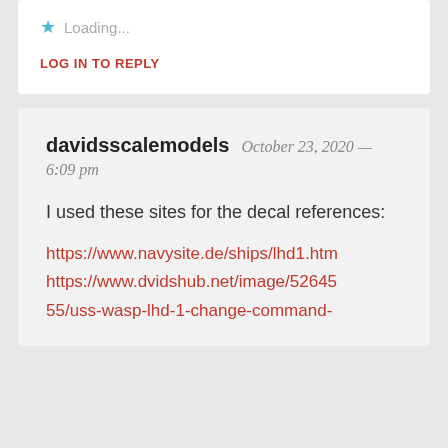★ Loading...
LOG IN TO REPLY
davidsscalemodels  October 23, 2020 — 6:09 pm
I used these sites for the decal references:
https://www.navysite.de/ships/lhd1.htm
https://www.dvidshub.net/image/5264555/uss-wasp-lhd-1-change-command-